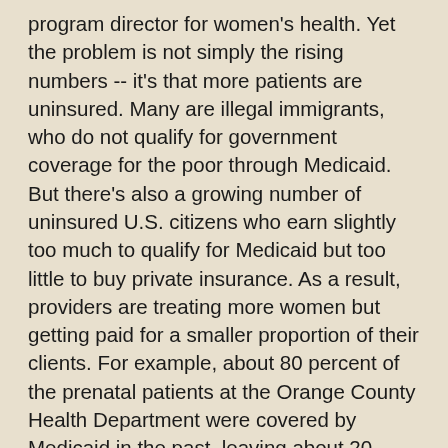program director for women's health. Yet the problem is not simply the rising numbers -- it's that more patients are uninsured. Many are illegal immigrants, who do not qualify for government coverage for the poor through Medicaid. But there's also a growing number of uninsured U.S. citizens who earn slightly too much to qualify for Medicaid but too little to buy private insurance. As a result, providers are treating more women but getting paid for a smaller proportion of their clients. For example, about 80 percent of the prenatal patients at the Orange County Health Department were covered by Medicaid in the past, leaving about 20 percent who were uninsured. Today, the breakdown is closer to 50-50, said Dr. Kevin Sherin, Health Department director. Statewide, an estimated 650,000 women of childbearing age have no coverage. "There's a significant number of moms who cannot access health insurance for a variety of reasons," Sherin said. This creates crushing budget demands for centers that serve these women. Demand keeps growing Danielle Phillips, 21, is among the thousands of prenatal patients at the Orange County Health Department. She works in a clothing store and didn't have medical insurance when she became